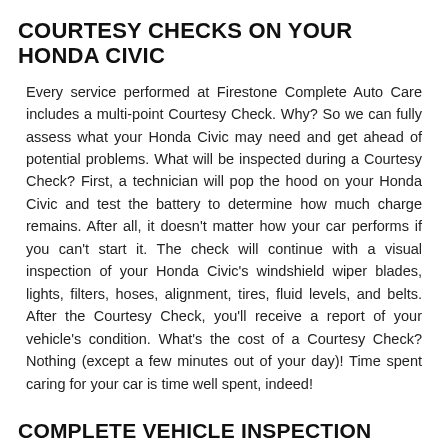COURTESY CHECKS ON YOUR HONDA CIVIC
Every service performed at Firestone Complete Auto Care includes a multi-point Courtesy Check. Why? So we can fully assess what your Honda Civic may need and get ahead of potential problems. What will be inspected during a Courtesy Check? First, a technician will pop the hood on your Honda Civic and test the battery to determine how much charge remains. After all, it doesn't matter how your car performs if you can't start it. The check will continue with a visual inspection of your Honda Civic's windshield wiper blades, lights, filters, hoses, alignment, tires, fluid levels, and belts. After the Courtesy Check, you'll receive a report of your vehicle's condition. What's the cost of a Courtesy Check? Nothing (except a few minutes out of your day)! Time spent caring for your car is time well spent, indeed!
COMPLETE VEHICLE INSPECTION SERVICES